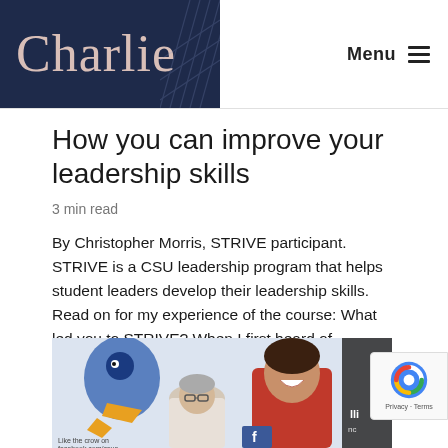Charlie  Menu
How you can improve your leadership skills
3 min read
By Christopher Morris, STRIVE participant. STRIVE is a CSU leadership program that helps student leaders develop their leadership skills. Read on for my experience of the course: What led you to STRIVE? When I first heard of STRIVE, I thought it...
[Figure (photo): Two women laughing in front of a banner with a cartoon crow mascot and Facebook page reference. One older woman with short grey hair and glasses, one younger woman in a red top.]